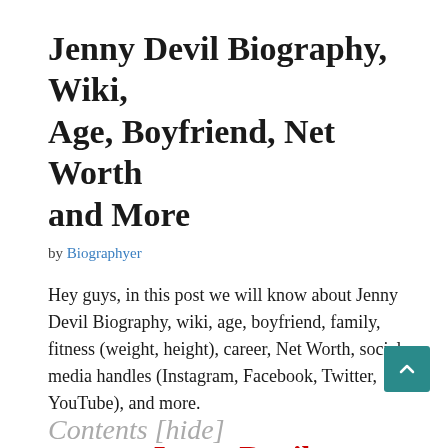Jenny Devil Biography, Wiki, Age, Boyfriend, Net Worth and More
by Biographyer
Hey guys, in this post we will know about Jenny Devil Biography, wiki, age, boyfriend, family, fitness (weight, height), career, Net Worth, social media handles (Instagram, Facebook, Twitter, YouTube), and more.
Jenny Devil
Contents [hide]